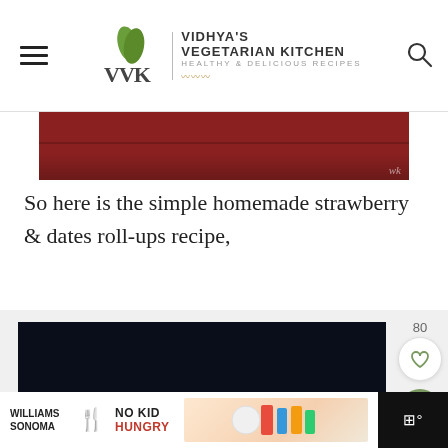Vidhya's Vegetarian Kitchen — Healthy & Delicious Recipes
[Figure (photo): Partial view of a dark red/maroon colored tray or dish, cropped at the top, with a small 'wk' watermark in the bottom right corner.]
So here is the simple homemade strawberry & dates roll-ups recipe,
[Figure (photo): Dark/black background image block, nearly all black — appears to be a loading or placeholder video thumbnail.]
[Figure (photo): Advertisement banner: Williams Sonoma — No Kid Hungry — Cook For a Cause, with colorful kitchenware imagery.]